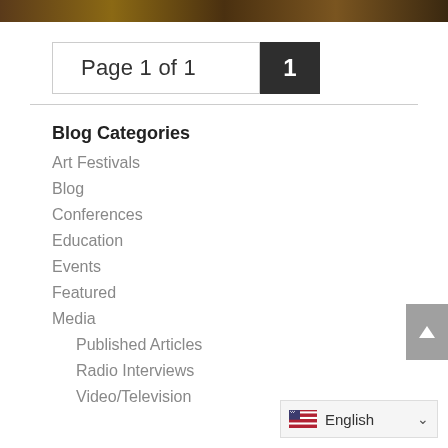[Figure (photo): Top banner image showing a brownish/golden artistic scene]
Page 1 of 1  1
Blog Categories
Art Festivals
Blog
Conferences
Education
Events
Featured
Media
Published Articles
Radio Interviews
Video/Television